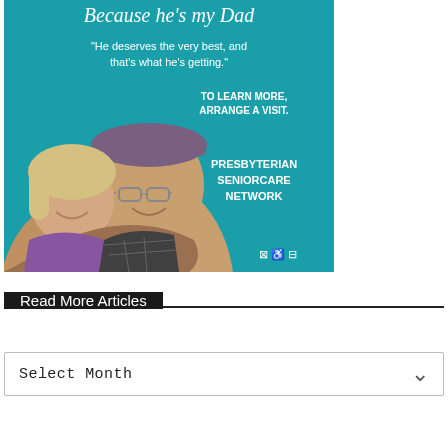[Figure (illustration): Advertisement for Presbyterian SeniorCare Network showing an elderly man with a cap and glasses being hugged from behind by a smiling middle-aged woman, on a teal/turquoise background. Text reads: 'Because he's my Dad', '"He deserves the very best, and that's what he's getting."', 'TO LEARN MORE, ARRANGE A VISIT.', 'PRESBYTERIAN SENIORCARE NETWORK', with accessibility icons at bottom right.]
Read More Articles
Select Month